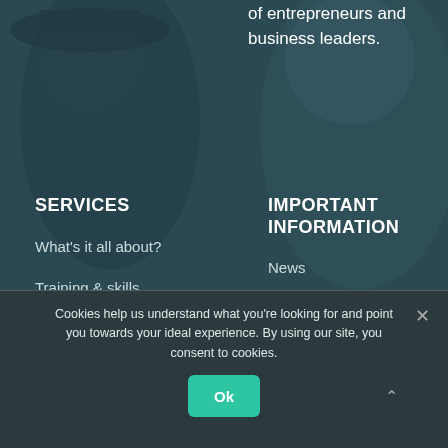of entrepreneurs and business leaders.
SERVICES
What's it all about?
Training & skills development
Additional services
IMPORTANT INFORMATION
News
Privacy Policy
POPI Compliance
Cookies help us understand what you're looking for and point you towards your ideal experience. By using our site, you consent to cookies.